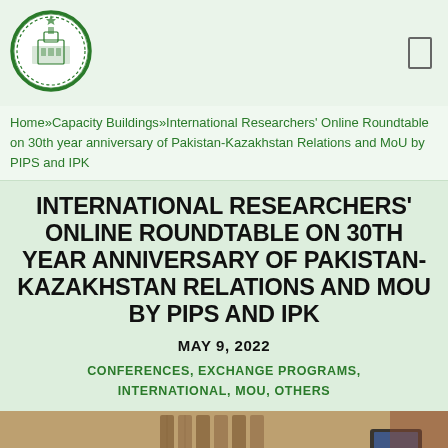[Figure (logo): Pakistan Institute for Parliamentary Services circular logo with green wreath border and building image in center]
Home»Capacity Buildings»International Researchers' Online Roundtable on 30th year anniversary of Pakistan-Kazakhstan Relations and MoU by PIPS and IPK
INTERNATIONAL RESEARCHERS' ONLINE ROUNDTABLE ON 30TH YEAR ANNIVERSARY OF PAKISTAN-KAZAKHSTAN RELATIONS AND MOU BY PIPS AND IPK
MAY 9, 2022
CONFERENCES, EXCHANGE PROGRAMS, INTERNATIONAL, MOU, OTHERS
[Figure (photo): Interior room photo showing decorative screens/partitions and a TV screen on the wall]